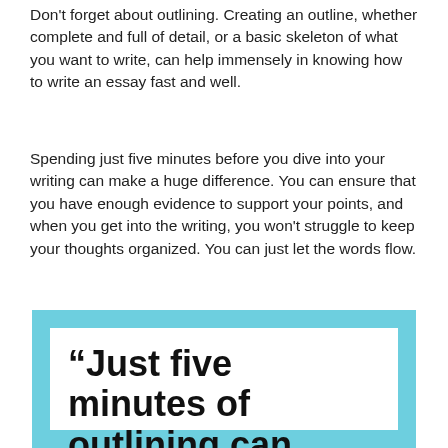Don't forget about outlining. Creating an outline, whether complete and full of detail, or a basic skeleton of what you want to write, can help immensely in knowing how to write an essay fast and well.
Spending just five minutes before you dive into your writing can make a huge difference. You can ensure that you have enough evidence to support your points, and when you get into the writing, you won't struggle to keep your thoughts organized. You can just let the words flow.
[Figure (infographic): Pull quote box with light blue outer border and white inner box containing the text: “Just five minutes of outlining can save you hours” in large bold black font.]